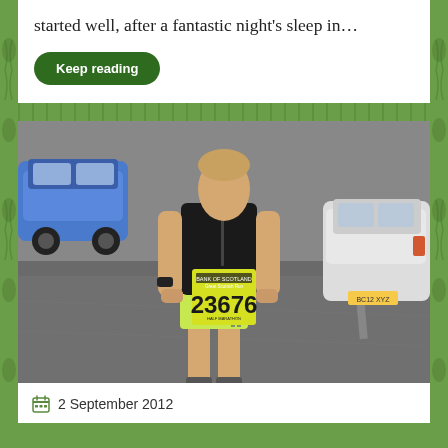started well, after a fantastic night's sleep in…
Keep reading
[Figure (photo): A runner wearing a black tank top, lime green running shorts, and a race bib numbered 23676 reading 'Bank of Scotland Great Scottish Run Half Marathon', standing in a car park with cars visible in the background.]
2 September 2012